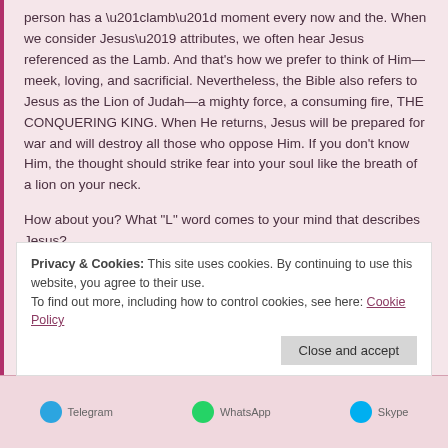person has a “lamb” moment every now and the. When we consider Jesus’ attributes, we often hear Jesus referenced as the Lamb. And that’s how we prefer to think of Him—meek, loving, and sacrificial. Nevertheless, the Bible also refers to Jesus as the Lion of Judah—a mighty force, a consuming fire, THE CONQUERING KING. When He returns, Jesus will be prepared for war and will destroy all those who oppose Him. If you don’t know Him, the thought should strike fear into your soul like the breath of a lion on your neck.
How about you? What “L” word comes to your mind that describes Jesus?
See you in a twinkling,
Brenda K. Hendricks
Privacy & Cookies: This site uses cookies. By continuing to use this website, you agree to their use.
To find out more, including how to control cookies, see here: Cookie Policy